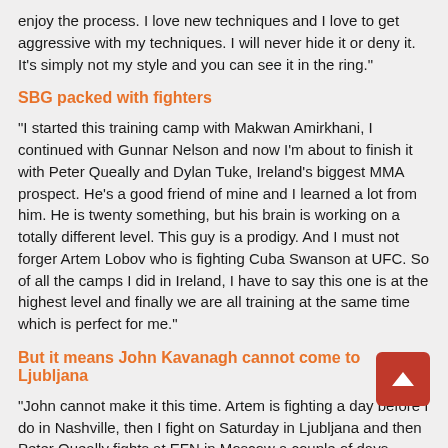enjoy the process. I love new techniques and I love to get aggressive with my techniques. I will never hide it or deny it. It's simply not my style and you can see it in the ring."
SBG packed with fighters
"I started this training camp with Makwan Amirkhani, I continued with Gunnar Nelson and now I'm about to finish it with Peter Queally and Dylan Tuke, Ireland's biggest MMA prospect. He's a good friend of mine and I learned a lot from him. He is twenty something, but his brain is working on a totally different level. This guy is a prodigy. And I must not forger Artem Lobov who is fighting Cuba Swanson at UFC. So of all the camps I did in Ireland, I have to say this one is at the highest level and finally we are all training at the same time which is perfect for me."
But it means John Kavanagh cannot come to Ljubljana
"John cannot make it this time. Artem is fighting a day before I do in Nashville, then I fight on Saturday in Ljubljana and then Peter Queally fights at EFN in Moscow a couple of days